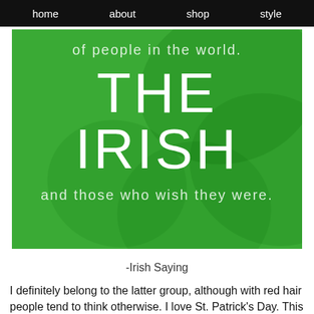home  about  shop  style
[Figure (illustration): Green background with large shamrock/clover leaf shapes in a darker green silhouette. White text reads: 'of people in the world.' (top), 'THE IRISH' (large center), 'and those who wish they were.' (bottom).]
-Irish Saying
I definitely belong to the latter group, although with red hair people tend to think otherwise. I love St. Patrick's Day. This Saturday...